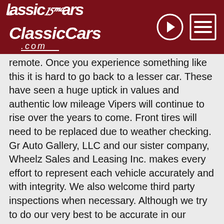ClassicCars.com
remote. Once you experience something like this it is hard to go back to a lesser car. These have seen a huge uptick in values and authentic low mileage Vipers will continue to rise over the years to come. Front tires will need to be replaced due to weather checking. Gr Auto Gallery, LLC and our sister company, Wheelz Sales and Leasing Inc. makes every effort to represent each vehicle accurately and with integrity. We also welcome third party inspections when necessary. Although we try to do our very best to be accurate in our description writing we are human and do make mistakes. Unless otherwise noted, All vehicles are sold AS IS, No Warranty Expressed or Implied. All sales final. GR Auto Gallery and all its affiliates reserve the right to charge a 3% processing fee on any credit card sales of over $2,500.